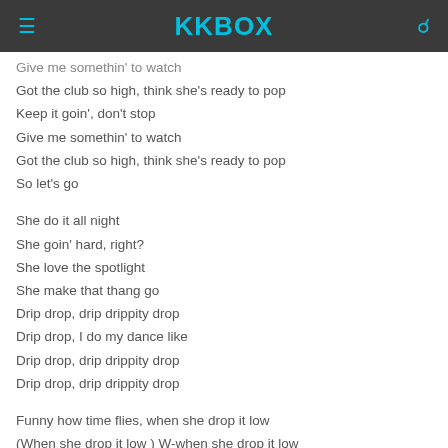KKBOX
Give me somethin' to watch
Got the club so high, think she's ready to pop
Keep it goin', don't stop
Give me somethin' to watch
Got the club so high, think she's ready to pop
So let's go

She do it all night
She goin' hard, right?
She love the spotlight
She make that thang go
Drip drop, drip drippity drop
Drip drop, I do my dance like
Drip drop, drip drippity drop
Drip drop, drip drippity drop

Funny how time flies, when she drop it low
(When she drop it low ) W-when she drop it low
Drip drop, drip drippity drop